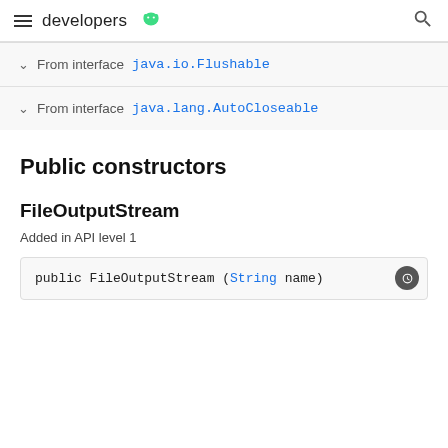developers [Android logo]
From interface java.io.Flushable
From interface java.lang.AutoCloseable
Public constructors
FileOutputStream
Added in API level 1
public FileOutputStream (String name)